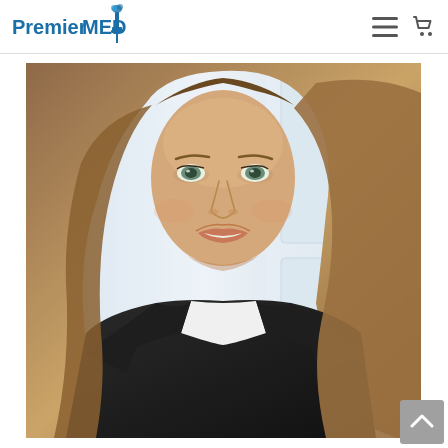[Figure (logo): PremierMED logo with torch/medical symbol in blue]
[Figure (photo): Professional headshot of a smiling woman with long blonde-brown hair wearing a black blazer over white top, light background with white paneling]
[Figure (other): Scroll-to-top button (grey square with upward chevron) in bottom right corner]